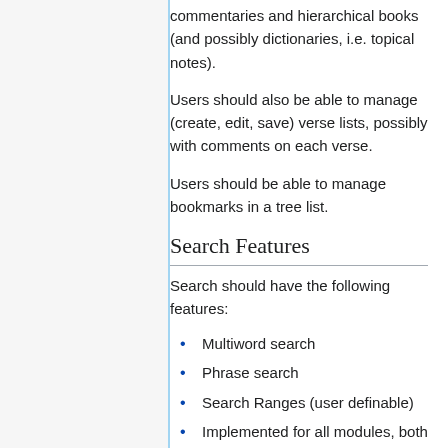commentaries and hierarchical books (and possibly dictionaries, i.e. topical notes).
Users should also be able to manage (create, edit, save) verse lists, possibly with comments on each verse.
Users should be able to manage bookmarks in a tree list.
Search Features
Search should have the following features:
Multiword search
Phrase search
Search Ranges (user definable)
Implemented for all modules, both keys and content
Search in multiple modules simultaneously